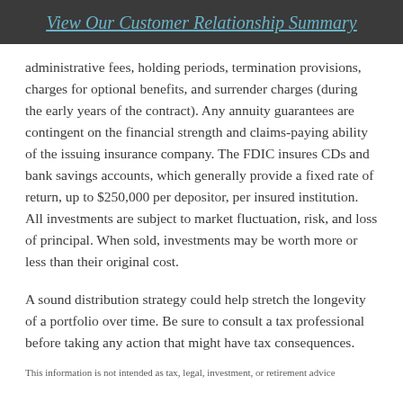View Our Customer Relationship Summary
administrative fees, holding periods, termination provisions, charges for optional benefits, and surrender charges (during the early years of the contract). Any annuity guarantees are contingent on the financial strength and claims-paying ability of the issuing insurance company. The FDIC insures CDs and bank savings accounts, which generally provide a fixed rate of return, up to $250,000 per depositor, per insured institution. All investments are subject to market fluctuation, risk, and loss of principal. When sold, investments may be worth more or less than their original cost.
A sound distribution strategy could help stretch the longevity of a portfolio over time. Be sure to consult a tax professional before taking any action that might have tax consequences.
This information is not intended as tax, legal, investment, or retirement advice